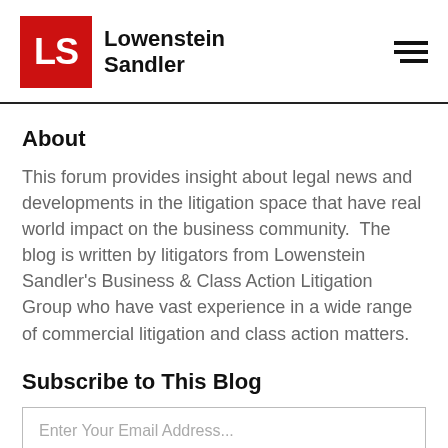Lowenstein Sandler
About
This forum provides insight about legal news and developments in the litigation space that have real world impact on the business community.  The blog is written by litigators from Lowenstein Sandler's Business & Class Action Litigation Group who have vast experience in a wide range of commercial litigation and class action matters.
Subscribe to This Blog
Enter Your Email Address...
SUBSCRIBE